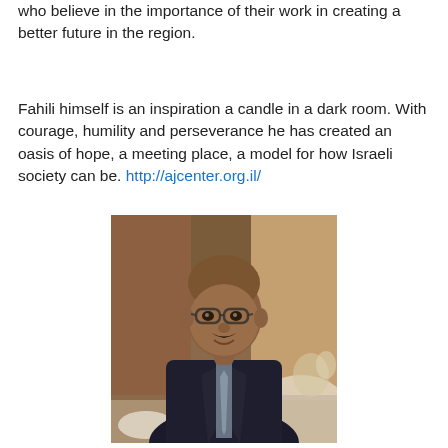who believe in the importance of their work in creating a better future in the region.
Fahili himself is an inspiration a candle in a dark room. With courage, humility and perseverance he has created an oasis of hope, a meeting place, a model for how Israeli society can be. http://ajcenter.org.il/
[Figure (photo): Portrait photo of a middle-aged man with a mustache, wearing glasses and a dark suit with a tie, smiling at the camera in what appears to be an event venue setting.]